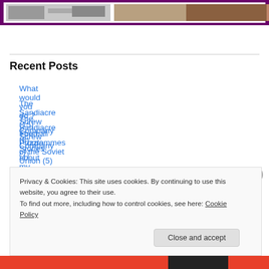[Figure (photo): Partial view of a photo strip showing black and white and color images, framed with a purple border at the top of the page]
Recent Posts
What would you do ? (15) The Puzzle
The Sandiacre Screw Company (8)
The Sandiacre Screw Company (7)
Football Programmes of the Soviet Union (5)
Stories about my Dad (2)
Privacy & Cookies: This site uses cookies. By continuing to use this website, you agree to their use.
To find out more, including how to control cookies, see here: Cookie Policy
Close and accept